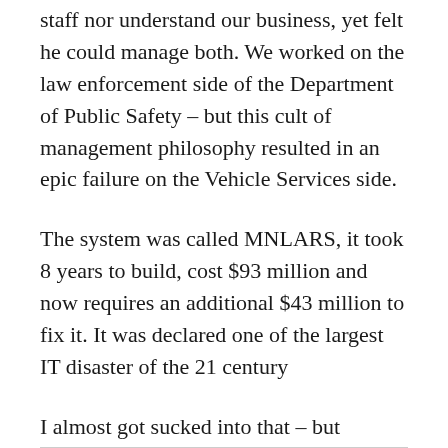staff nor understand our business, yet felt he could manage both. We worked on the law enforcement side of the Department of Public Safety – but this cult of management philosophy resulted in an epic failure on the Vehicle Services side.
The system was called MNLARS, it took 8 years to build, cost $93 million and now requires an additional $43 million to fix it. It was declared one of the largest IT disaster of the 21 century
I almost got sucked into that – but dodged a bullet by retiring.